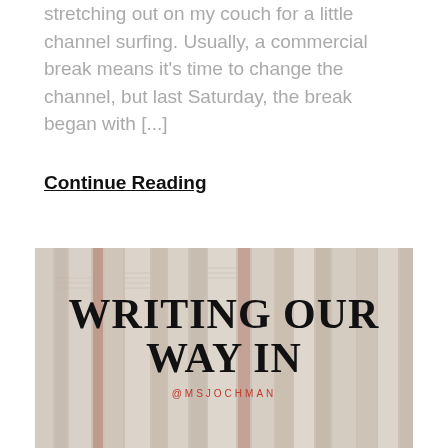stretching out on my couch for a little channel surfing. Usually, a commercial break means it's time to change the channel, but last Saturday, the break began with [...]
Continue Reading
[Figure (photo): Stack of open books/newspapers with bold serif text overlay reading 'WRITING OUR WAY IN' and handle '@MSJOCHMAN' in red below]